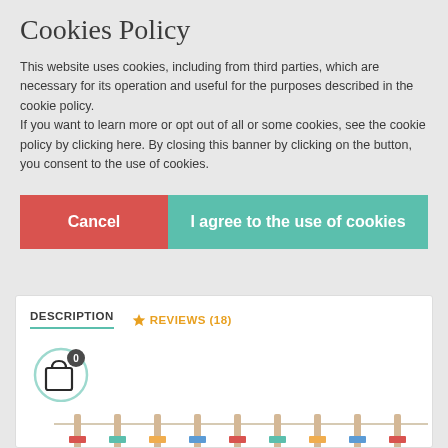Cookies Policy
This website uses cookies, including from third parties, which are necessary for its operation and useful for the purposes described in the cookie policy.
If you want to learn more or opt out of all or some cookies, see the cookie policy by clicking here. By closing this banner by clicking on the button, you consent to the use of cookies.
Cancel
I agree to the use of cookies
DESCRIPTION
★ REVIEWS (18)
[Figure (illustration): Shopping bag icon with badge showing 0]
[Figure (photo): Wooden craft sticks with colorful decorations at the bottom, partially visible]